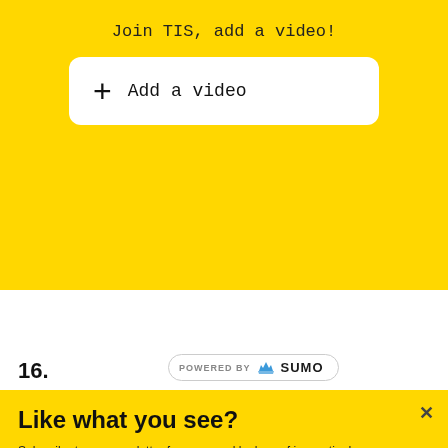Join TIS, add a video!
[Figure (other): Add a video button with white rounded rectangle background and plus icon]
16.
[Figure (logo): POWERED BY SUMO badge with crown icon]
Like what you see?
Subscribe to our newsletter for your weekly dose of innovation!
[Figure (other): Email input field with placeholder text 'Enter your email address']
Subscribe!